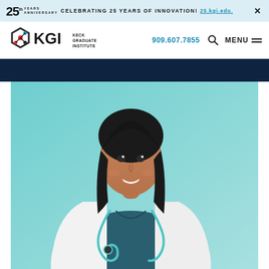25th ANNIVERSARY — CELEBRATING 25 YEARS OF INNOVATION! 25.kgi.edu.
[Figure (logo): KGI Keck Graduate Institute logo with hexagon molecule icon]
909.607.7855
MENU
[Figure (photo): Smiling young woman in white lab coat with stethoscope against teal background]